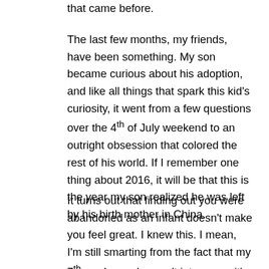that came before.
The last few months, my friends, have been something. My son became curious about his adoption, and like all things that spark this kid's curiosity, it went from a few questions over the 4th of July weekend to an outright obsession that colored the rest of his world. If I remember one thing about 2016, it will be that this is the year my son realized he was left by his birth mother in China.
It turns out that finding out you were abandoned as an infant doesn't make you feel great. I knew this. I mean, I'm still smarting from the fact that my 7th grade crush wasn't into me so it's pretty obvious that finding out your birth mother left you, walking away